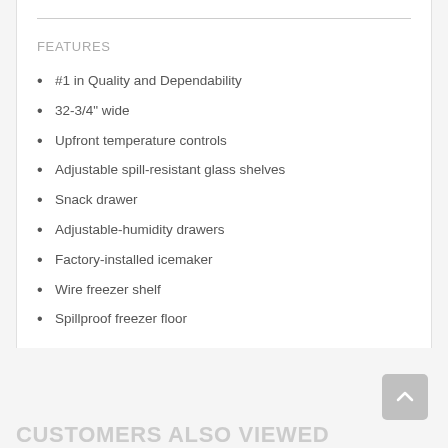FEATURES
#1 in Quality and Dependability
32-3/4" wide
Upfront temperature controls
Adjustable spill-resistant glass shelves
Snack drawer
Adjustable-humidity drawers
Factory-installed icemaker
Wire freezer shelf
Spillproof freezer floor
CUSTOMERS ALSO VIEWED